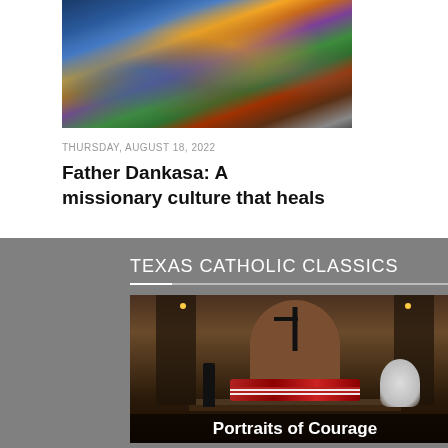[Figure (photo): Stained glass artwork depicting religious figures including Jesus and Mary with a donkey]
THURSDAY, AUGUST 18, 2022
Father Dankasa: A missionary culture that heals
TEXAS CATHOLIC CLASSICS
[Figure (photo): Church interior with flag-draped coffin on a catafalque, a guard standing at attention, floral arrangements, and a crucifix above an arched doorway]
Portraits of Courage